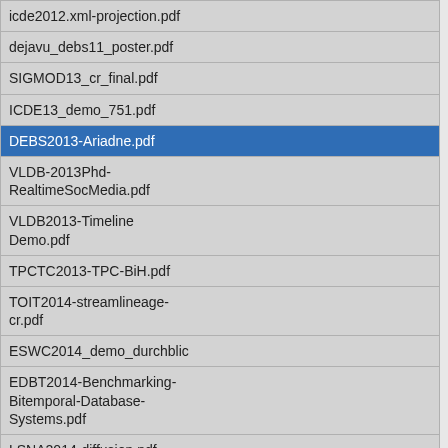icde2012.xml-projection.pdf
dejavu_debs11_poster.pdf
SIGMOD13_cr_final.pdf
ICDE13_demo_751.pdf
DEBS2013-Ariadne.pdf
VLDB-2013Phd-RealtimeSocMedia.pdf
VLDB2013-Timeline Demo.pdf
TPCTC2013-TPC-BiH.pdf
TOIT2014-streamlineage-cr.pdf
ESWC2014_demo_durchblic
EDBT2014-Benchmarking-Bitemporal-Database-Systems.pdf
LSNA2014-diffusion.pdf
cikm2014-rapid-demo.pdf
cikm2015-multilevel-provenance.pdf
DSEP2015-RealtimeDiffusion.pdf